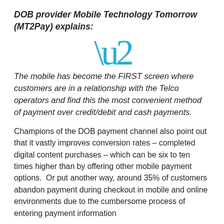DOB provider Mobile Technology Tomorrow (MT2Pay) explains:
[Figure (illustration): Large cyan/blue opening quotation mark decoration]
The mobile has become the FIRST screen where customers are in a relationship with the Telco operators and find this the most convenient method of payment over credit/debit and cash payments.
Champions of the DOB payment channel also point out that it vastly improves conversion rates – completed digital content purchases – which can be six to ten times higher than by offering other mobile payment options.  Or put another way, around 35% of customers abandon payment during checkout in mobile and online environments due to the cumbersome process of entering payment information